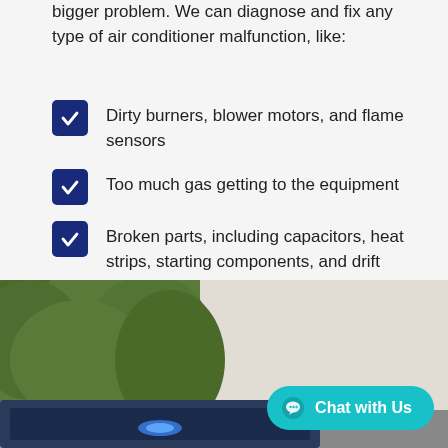bigger problem. We can diagnose and fix any type of air conditioner malfunction, like:
Dirty burners, blower motors, and flame sensors
Too much gas getting to the equipment
Broken parts, including capacitors, heat strips, starting components, and drift inducers.
Cracked heat exchangers
[Figure (photo): Outdoor HVAC unit beside a wall with green foliage in the background]